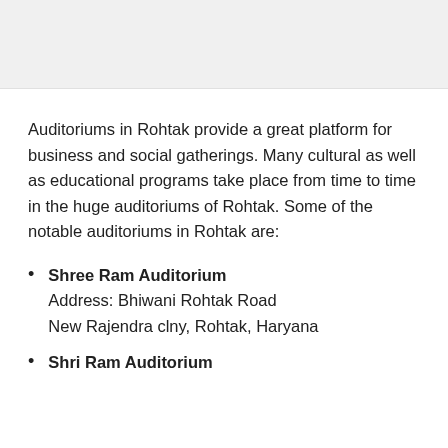[Figure (other): Image placeholder at top of page (gray background area)]
Auditoriums in Rohtak provide a great platform for business and social gatherings. Many cultural as well as educational programs take place from time to time in the huge auditoriums of Rohtak. Some of the notable auditoriums in Rohtak are:
Shree Ram Auditorium
Address: Bhiwani Rohtak Road
New Rajendra clny, Rohtak, Haryana
Shri Ram Auditorium